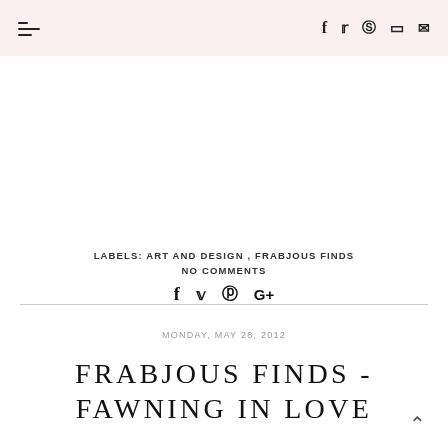≡  f  ✦  ⊕  ✉
LABELS: ART AND DESIGN , FRABJOUS FINDS
NO COMMENTS
f  ✦  ℗  G+
MONDAY, MAY 28, 2012
FRABJOUS FINDS - FAWNING IN LOVE